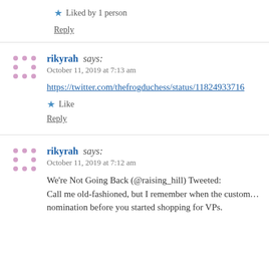★ Liked by 1 person
Reply
rikyrah says: October 11, 2019 at 7:13 am
https://twitter.com/thefrogduchess/status/11824933716
★ Like
Reply
rikyrah says: October 11, 2019 at 7:12 am
We're Not Going Back (@raising_hill) Tweeted: Call me old-fashioned, but I remember when the custom… nomination before you started shopping for VPs.